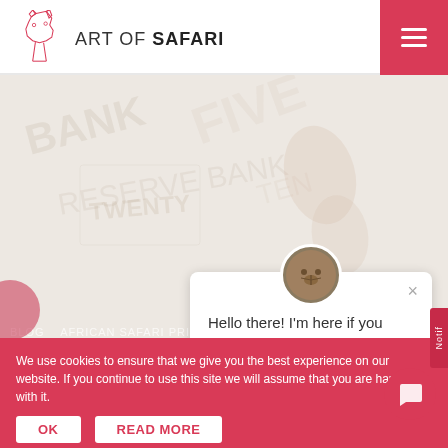[Figure (logo): Art of Safari website logo with geometric giraffe head outline in pink/red and the text 'ART OF SAFARI' next to it]
[Figure (screenshot): Hero background image showing faded/washed-out safari currency notes and a tiger/leopard paw print, very light pinkish-grey overlay]
[Figure (other): Chat popup with animal avatar (cat/giraffe face), close X button, text: Hello there! I'm here if you need help finding your way around.]
Hello there! I'm here if you need help finding your way around.
We use cookies to ensure that we give you the best experience on our website. If you continue to use this site we will assume that you are happy with it.
[Figure (other): Cookie consent bar in red with OK and READ MORE buttons]
[Figure (other): Red circular chat support icon bottom right]